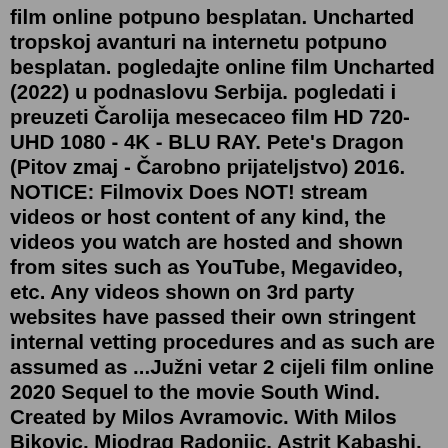film online potpuno besplatan. Uncharted tropskoj avanturi na internetu potpuno besplatan. pogledajte online film Uncharted (2022) u podnaslovu Serbija. pogledati i preuzeti Čarolija mesecaceo film HD 720-UHD 1080 - 4K - BLU RAY. Pete's Dragon (Pitov zmaj - Čarobno prijateljstvo) 2016. NOTICE: Filmovix Does NOT! stream videos or host content of any kind, the videos you watch are hosted and shown from sites such as YouTube, Megavideo, etc. Any videos shown on 3rd party websites have passed their own stringent internal vetting procedures and as such are assumed as ...Južni vetar 2 cijeli film online 2020 Sequel to the movie South Wind. Created by Milos Avramovic. With Milos Bikovic, Miodrag Radonjic, Astrit Kabashi, Milos Timotijevic. Juzni vetar 2: Ubrzanje ( 2021) je Драма филм у режији Nikola Pejaković и улоге Milan Marić, Srđan Todorović. Sajt domaci filmovi prestavlja spisak svih domacih filmova razvrstani po državama bivše Jugoslavije, lista domaci filmova poredana je i po žanrovima.Jan 13, 2020 · Explore Filmovizija online's board